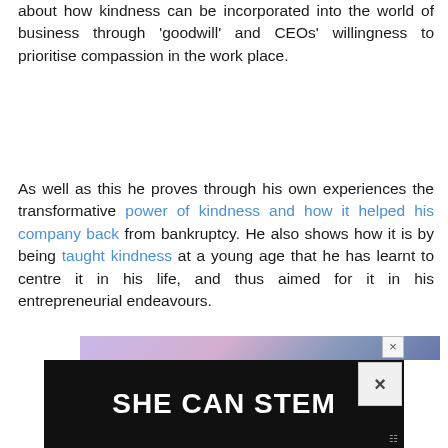about how kindness can be incorporated into the world of business through 'goodwill' and CEOs' willingness to prioritise compassion in the work place.
As well as this he proves through his own experiences the transformative power of kindness and how it helped his company back from bankruptcy. He also shows how it is by being taught kindness at a young age that he has learnt to centre it in his life, and thus aimed for it in his entrepreneurial endeavours.
[Figure (screenshot): Advertisement banner for 'SHE CAN STEM' with black background and white bold text, with a purple/mauve decorative strip at top and a close (X) button overlay.]